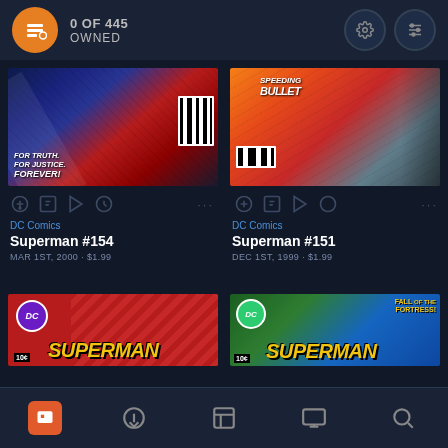0 OF 445 OWNED
[Figure (screenshot): Comic book cover for Superman #154 showing Superman in action with text FOR TRUTH. FOR JUSTICE. FOREVER!]
DC Comics
Superman #154
MAR 1ST, 2000 · $1.99
[Figure (screenshot): Comic book cover for Superman #151 showing Speeding Bullet storyline]
DC Comics
Superman #151
DEC 1ST, 1999 · $1.99
[Figure (screenshot): Comic book cover showing SUPERMAN title in yellow letters on red background]
[Figure (screenshot): Comic book cover showing FALL OF THE FORTRESS! SUPERMAN in yellow letters]
Navigation bar with home, download, library, reading, and search icons